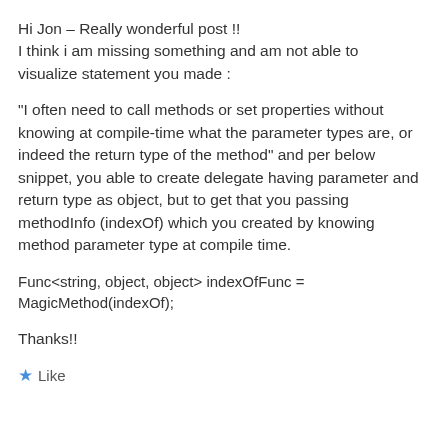Hi Jon – Really wonderful post !!
I think i am missing something and am not able to visualize statement you made :
“I often need to call methods or set properties without knowing at compile-time what the parameter types are, or indeed the return type of the method” and per below snippet, you able to create delegate having parameter and return type as object, but to get that you passing methodInfo (indexOf) which you created by knowing method parameter type at compile time.
Func<string, object, object> indexOfFunc = MagicMethod(indexOf);
Thanks!!
Like